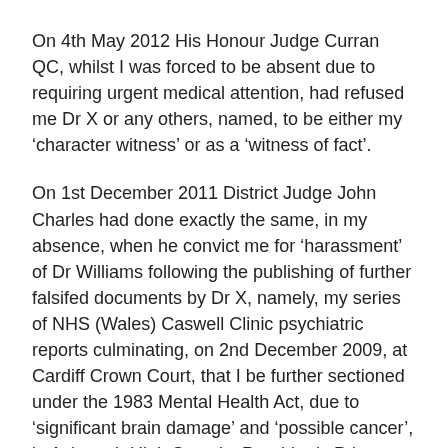On 4th May 2012 His Honour Judge Curran QC, whilst I was forced to be absent due to requiring urgent medical attention, had refused me Dr X or any others, named, to be either my ‘character witness’ or as a ‘witness of fact’.
On 1st December 2011 District Judge John Charles had done exactly the same, in my absence, when he convict me for ‘harassment’ of Dr Williams following the publishing of further falsifed documents by Dr X, namely, my series of NHS (Wales) Caswell Clinic psychiatric reports culminating, on 2nd December 2009, at Cardiff Crown Court, that I be further sectioned under the 1983 Mental Health Act, due to ‘significant brain damage’ and ‘possible cancer’, in Ashworth High Security Psychiatric Prison.
Closer scutiny of my Caswel Clinic, Bridgend, medical